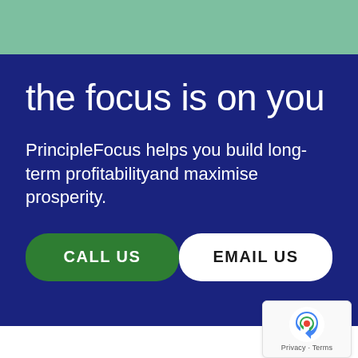[Figure (other): Green decorative bar at the top of the page]
the focus is on you
PrincipleFocus helps you build long-term profitabilityand maximise prosperity.
CALL US
EMAIL US
[Figure (logo): reCAPTCHA badge with Privacy and Terms text]